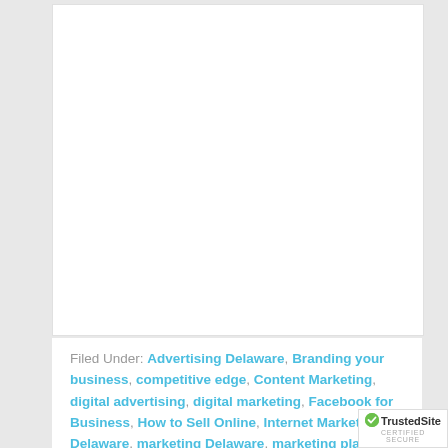[Figure (other): White content box area at top of page, mostly blank]
Filed Under: Advertising Delaware, Branding your business, competitive edge, Content Marketing, digital advertising, digital marketing, Facebook for Business, How to Sell Online, Internet Marketing Delaware, marketing Delaware, marketing plan, Mobile Marketing, online marketing, Social Media, Social Media Marketing
Tagged With: business facebook page, Facebook, facebook for business, Facebook page, Facebook templates, Facebook tips
[Figure (logo): TrustedSite CERTIFIED SECURE badge in bottom right corner]